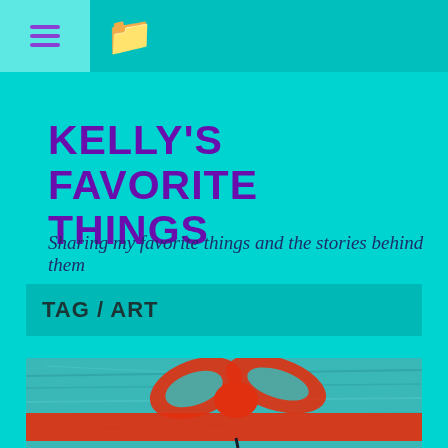≡ [folder icon]
KELLY'S FAVORITE THINGS
Sharing my favorite things and the stories behind them
TAG / ART
[Figure (photo): Photo of an ocean/water scene with a large red ribbon and bow sculpture or overlay on top of the water, with what appears to be a boat mast at the bottom]